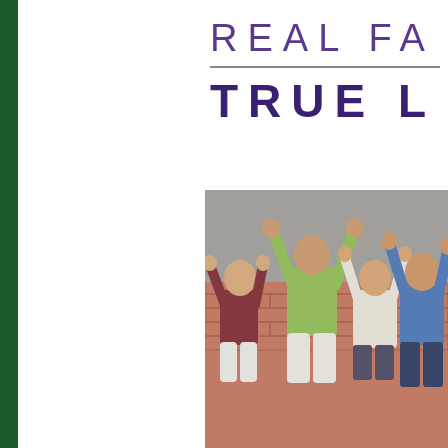REAL FA...
TRUE L...
[Figure (photo): Group of children and adults inside a school gymnasium or classroom with brick walls, all jumping with hands raised in the air. Several kids wearing casual clothes — one in a maroon shirt and white shorts, one in a green t-shirt and white shorts, one in a white tie-dye shirt and dark shorts, one in a blue shirt and navy shorts, and one partially visible in a red top. Background shows brick wall and bulletin boards.]